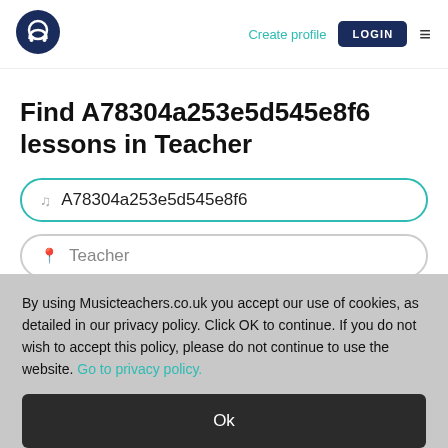[Figure (logo): Musicteachers.co.uk logo - dark navy blue circle with white musical note/headphone icon]
Create profile
LOGIN
Find A78304a253e5d545e8f6 lessons in Teacher
A78304a253e5d545e8f6
Teacher
By using Musicteachers.co.uk you accept our use of cookies, as detailed in our privacy policy. Click OK to continue. If you do not wish to accept this policy, please do not continue to use the website. Go to privacy policy.
Ok